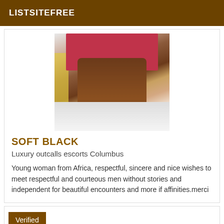LISTSITEFREE
[Figure (photo): A young woman wearing a red/pink outfit, seated, with white fabric/towel below, partial view of legs and upper body]
SOFT BLACK
Luxury outcalls escorts Columbus
Young woman from Africa, respectful, sincere and nice wishes to meet respectful and courteous men without stories and independent for beautiful encounters and more if affinities.merci
Verified